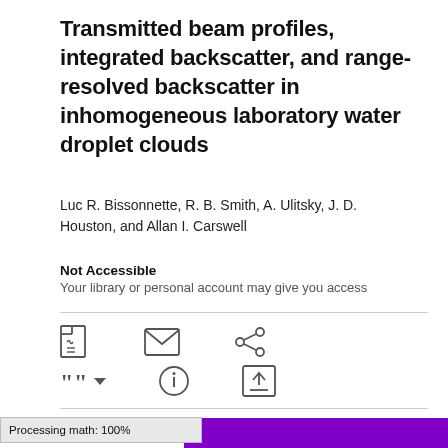Transmitted beam profiles, integrated backscatter, and range-resolved backscatter in inhomogeneous laboratory water droplet clouds
Luc R. Bissonnette, R. B. Smith, A. Ulitsky, J. D. Houston, and Allan I. Carswell
Not Accessible
Your library or personal account may give you access
[Figure (infographic): Row of action icons: PDF icon, email/envelope icon, share icon (network nodes). Second row: quote/cite icon with dropdown arrow, alert/info icon, upload icon.]
Processing math: 100%